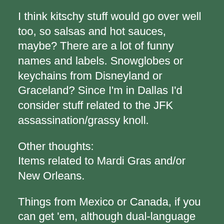I think kitschy stuff would go over well too, so salsas and hot sauces, maybe? There are a lot of funny names and labels. Snowglobes or keychains from Disneyland or Graceland? Since I'm in Dallas I'd consider stuff related to the JFK assassination/grassy knoll.
Other thoughts:
Items related to Mardi Gras and/or New Orleans.
Things from Mexico or Canada, if you can get 'em, although dual-language labels aren't really unusual in Europe. (I love Day of the Dead stuff, though.)
If you're inclined to poke fun at yourself, you can try to locate some hysterical/culturally ignorant/uber patriotic/just plain bizarre literature or items. For example, I'm pretty sure I've seen at least one ad for a figurine of the Pope on a motorcycle...probably a Harley. Crazy local laws or newspaper clippings about someone's collection of toilet